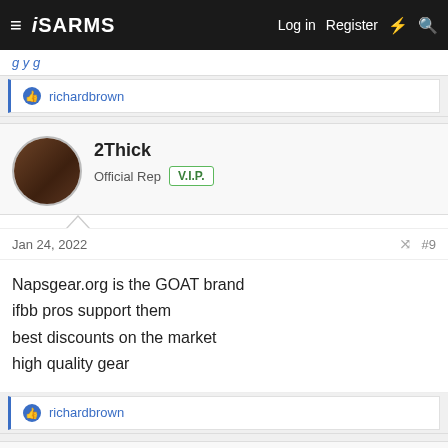ISARMS — Log in  Register
[truncated page text]
richardbrown [liked]
2Thick
Official Rep  V.I.P.
Jan 24, 2022  #9
Napsgear.org is the GOAT brand
ifbb pros support them
best discounts on the market
high quality gear
richardbrown [liked]
StevenDarwinMD
Medical Review Board  VIP Moderator